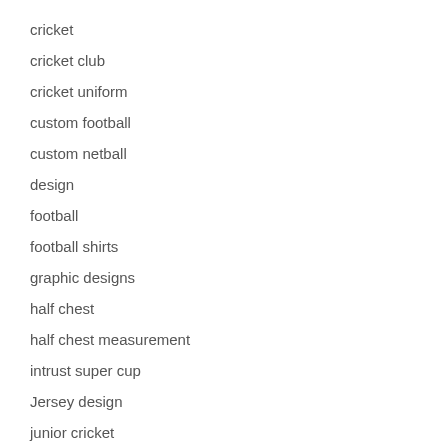cricket
cricket club
cricket uniform
custom football
custom netball
design
football
football shirts
graphic designs
half chest
half chest measurement
intrust super cup
Jersey design
junior cricket
kitbuilder